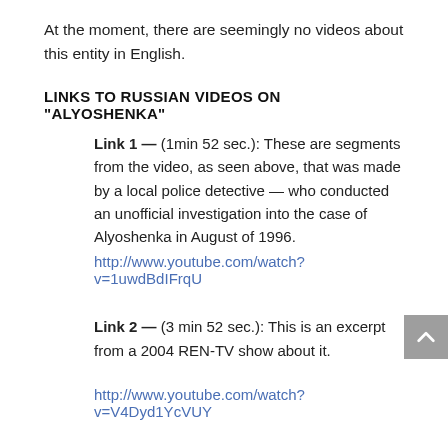At the moment, there are seemingly no videos about this entity in English.
LINKS TO RUSSIAN VIDEOS ON “ALYOSHENKA”
Link 1 — (1min 52 sec.): These are segments from the video, as seen above, that was made by a local police detective — who conducted an unofficial investigation into the case of Alyoshenka in August of 1996.
http://www.youtube.com/watch?v=1uwdBdIFrqU
Link 2 — (3 min 52 sec.): This is an excerpt from a 2004 REN-TV show about it.
http://www.youtube.com/watch?v=V4Dyd1YcVUY